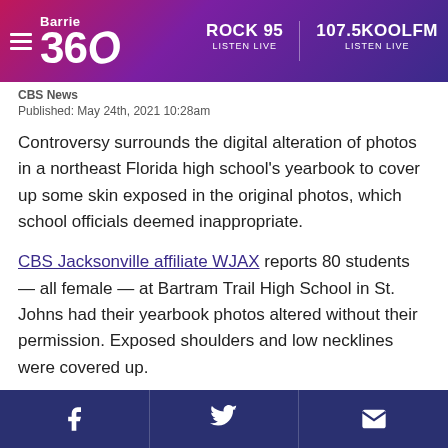Barrie 360 — ROCK 95 LISTEN LIVE — 107.5KOOLFM LISTEN LIVE
CBS News
Published: May 24th, 2021 10:28am
Controversy surrounds the digital alteration of photos in a northeast Florida high school's yearbook to cover up some skin exposed in the original photos, which school officials deemed inappropriate.
CBS Jacksonville affiliate WJAX reports 80 students — all female — at Bartram Trail High School in St. Johns had their yearbook photos altered without their permission. Exposed shoulders and low necklines were covered up.
Facebook | Twitter | Email